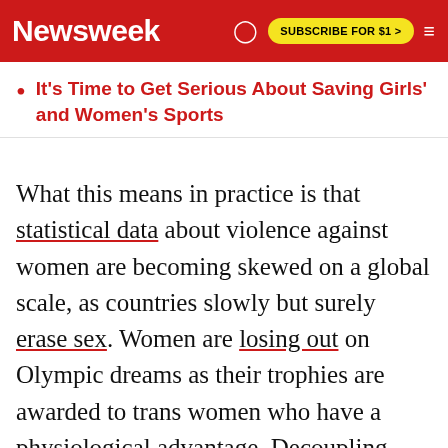Newsweek | SUBSCRIBE FOR $1 >
It's Time to Get Serious About Saving Girls' and Women's Sports
What this means in practice is that statistical data about violence against women are becoming skewed on a global scale, as countries slowly but surely erase sex. Women are losing out on Olympic dreams as their trophies are awarded to trans women who have a physiological advantage. Decoupling women from biology carries life-or-death